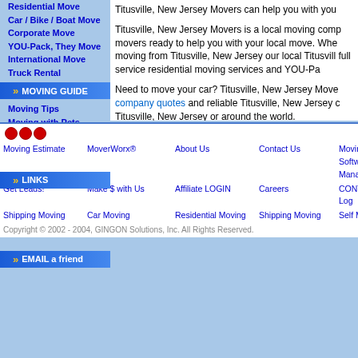Residential Move
Car / Bike / Boat Move
Corporate Move
YOU-Pack, They Move
International Move
Truck Rental
MOVING GUIDE
Moving Tips
Moving with Pets
Do-It-Yourself Guide
Self Move Tips
Packing Guide
LINKS
auto shippers
military movers
relocation movers
cheap movers
EMAIL a friend
Titusville, New Jersey Movers can help you with you...
Titusville, New Jersey Movers is a local moving comp... movers ready to help you with your local move. Whe... moving from Titusville, New Jersey our local Titusvill... full service residential moving services and YOU-Pa...
Need to move your car? Titusville, New Jersey Move... company quotes and reliable Titusville, New Jersey c... Titusville, New Jersey or around the world.
Moving to the USA? Our international moving compa... move anywhere at anytime. Find USA Movers right m...
Let Titusville, New Jersey Movers help you with your... FREE Titusville, New Jersey Moving Company Quot...
Moving Estimate | MoverWorx® | About Us | Contact Us | Moving Software Management | Get Leads! | Make $ with Us | Affiliate LOGIN | Careers | CONTAX Log | Shipping Moving | Car Moving | Residential Moving | Shipping Moving | Self Moving | Copyright © 2002 - 2004, GINGON Solutions, Inc. All Rights Reserved.